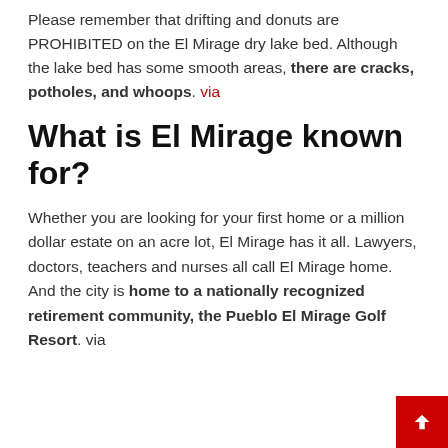Please remember that drifting and donuts are PROHIBITED on the El Mirage dry lake bed. Although the lake bed has some smooth areas, there are cracks, potholes, and whoops. via
What is El Mirage known for?
Whether you are looking for your first home or a million dollar estate on an acre lot, El Mirage has it all. Lawyers, doctors, teachers and nurses all call El Mirage home. And the city is home to a nationally recognized retirement community, the Pueblo El Mirage Golf Resort. via